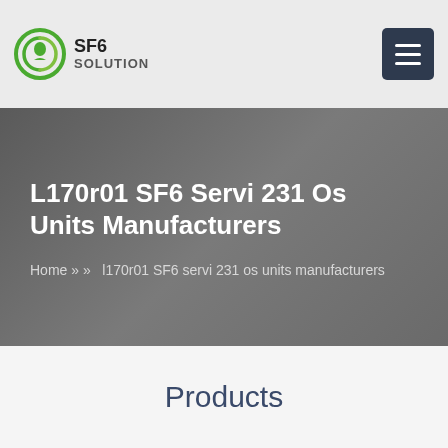[Figure (logo): SF6 Solution logo with green circular icon and text 'SF6 SOLUTION']
L170r01 SF6 Servi 231 Os Units Manufacturers
Home » » l170r01 SF6 servi 231 os units manufacturers
Products